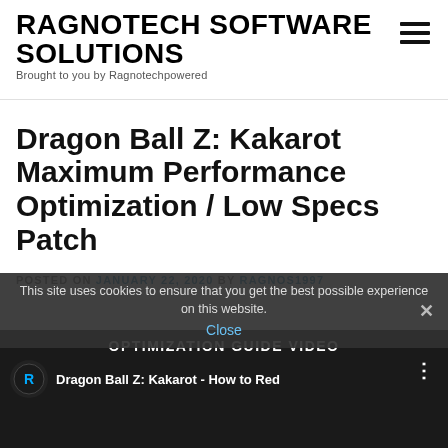RAGNOTECH SOFTWARE SOLUTIONS
Brought to you by Ragnotechpowered
Dragon Ball Z: Kakarot Maximum Performance Optimization / Low Specs Patch
POSTED ON JANUARY 22, 2020 BY RAGNOS1997
This site uses cookies to ensure that you get the best possible experience on this website.
OPTIMIZATION GUIDE VIDEO
Close
[Figure (screenshot): Video thumbnail showing Dragon Ball Z: Kakarot - How to Red with Ragnotech logo]